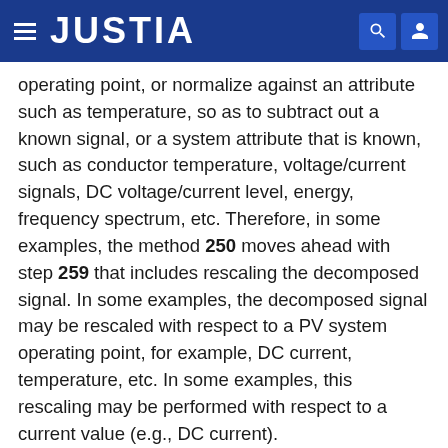JUSTIA
operating point, or normalize against an attribute such as temperature, so as to subtract out a known signal, or a system attribute that is known, such as conductor temperature, voltage/current signals, DC voltage/current level, energy, frequency spectrum, etc. Therefore, in some examples, the method 250 moves ahead with step 259 that includes rescaling the decomposed signal. In some examples, the decomposed signal may be rescaled with respect to a PV system operating point, for example, DC current, temperature, etc. In some examples, this rescaling may be performed with respect to a current value (e.g., DC current).
In some examples, the rescaling step 259, by the mathematical functions used in rescaling, may create new signals using the decomposed signals. Therefore, in some examples, an additional rescaling step (step 260)